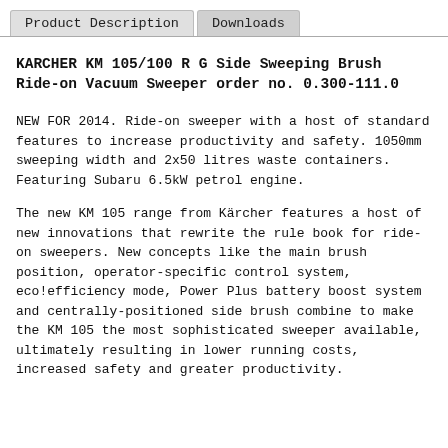Product Description | Downloads
KARCHER KM 105/100 R G Side Sweeping Brush Ride-on Vacuum Sweeper order no. 0.300-111.0
NEW FOR 2014. Ride-on sweeper with a host of standard features to increase productivity and safety. 1050mm sweeping width and 2x50 litres waste containers. Featuring Subaru 6.5kW petrol engine.
The new KM 105 range from Kärcher features a host of new innovations that rewrite the rule book for ride-on sweepers. New concepts like the main brush position, operator-specific control system, eco!efficiency mode, Power Plus battery boost system and centrally-positioned side brush combine to make the KM 105 the most sophisticated sweeper available, ultimately resulting in lower running costs, increased safety and greater productivity.